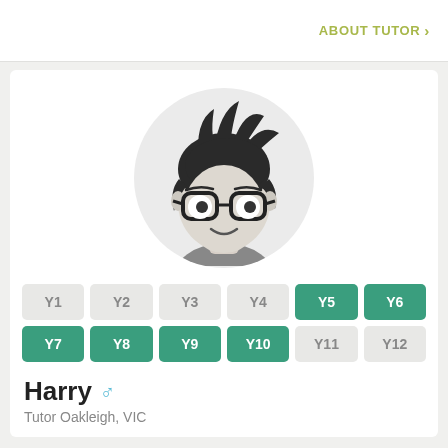ABOUT TUTOR >
[Figure (illustration): Cartoon avatar of a male tutor with dark spiky hair, glasses, and a smirk, wearing a grey shirt, set within a light grey circle background]
| Y1 | Y2 | Y3 | Y4 | Y5 | Y6 |
| Y7 | Y8 | Y9 | Y10 | Y11 | Y12 |
Harry ♂
Tutor Oakleigh, VIC